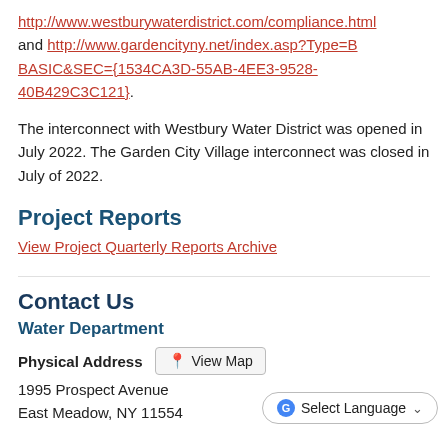http://www.westburywaterdistrict.com/compliance.html and http://www.gardencityny.net/index.asp?Type=B BASIC&SEC={1534CA3D-55AB-4EE3-9528-40B429C3C121}.
The interconnect with Westbury Water District was opened in July 2022. The Garden City Village interconnect was closed in July of 2022.
Project Reports
View Project Quarterly Reports Archive
Contact Us
Water Department
Physical Address   View Map
1995 Prospect Avenue
East Meadow, NY 11554
Select Language